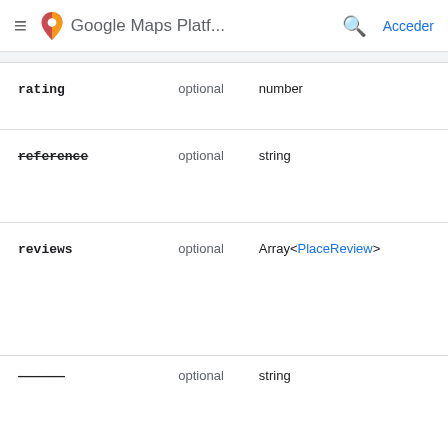Google Maps Platf... Acceder
| Name | Optional/Required | Type |
| --- | --- | --- |
| rating | optional | number |
| reference | optional | string |
| reviews | optional | Array<PlaceReview> |
| (partial, cut off) | optional | string |